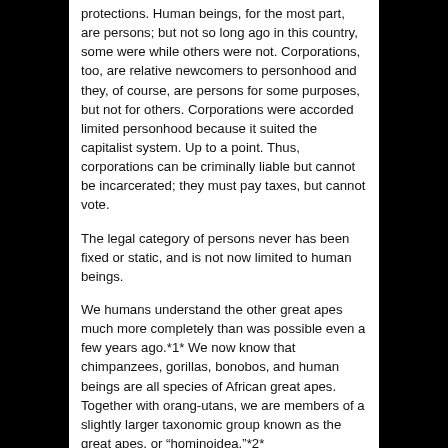protections. Human beings, for the most part, are persons; but not so long ago in this country, some were while others were not. Corporations, too, are relative newcomers to personhood and they, of course, are persons for some purposes, but not for others. Corporations were accorded limited personhood because it suited the capitalist system. Up to a point. Thus, corporations can be criminally liable but cannot be incarcerated; they must pay taxes, but cannot vote.
The legal category of persons never has been fixed or static, and is not now limited to human beings.
We humans understand the other great apes much more completely than was possible even a few years ago.*1* We now know that chimpanzees, gorillas, bonobos, and human beings are all species of African great apes. Together with orang-utans, we are members of a slightly larger taxonomic group known as the great apes, or “hominoidea.”*2*
Not only do we have a new understanding of our